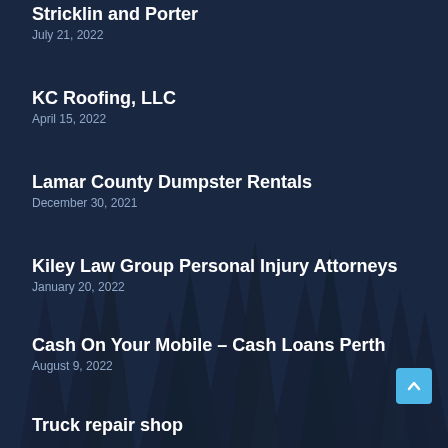Stricklin and Porter
July 21, 2022
KC Roofing, LLC
April 15, 2022
Lamar County Dumpster Rentals
December 30, 2021
Kiley Law Group Personal Injury Attorneys
January 20, 2022
Cash On Your Mobile – Cash Loans Perth
August 9, 2022
Truck repair shop